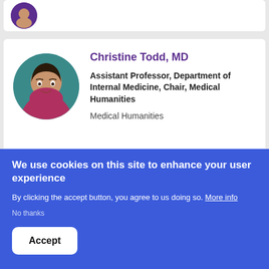[Figure (photo): Partial view of a circular profile photo with purple background at the top of the page (cropped card)]
Christine Todd, MD
Assistant Professor, Department of Internal Medicine, Chair, Medical Humanities
Medical Humanities
[Figure (photo): Partial view of Rod Weilbaecher's circular profile photo (gray tones)]
Rod Weilbaecher, PhD
We use cookies on this site to enhance your user experience
By clicking the accept button, you agree to us doing so. More info
No thanks
Accept